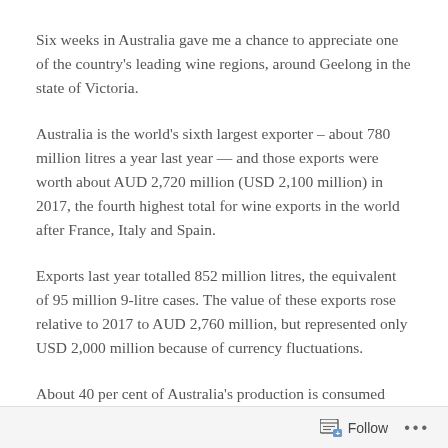Six weeks in Australia gave me a chance to appreciate one of the country's leading wine regions, around Geelong in the state of Victoria.
Australia is the world's sixth largest exporter – about 780 million litres a year last year — and those exports were worth about AUD 2,720 million (USD 2,100 million) in 2017, the fourth highest total for wine exports in the world after France, Italy and Spain.
Exports last year totalled 852 million litres, the equivalent of 95 million 9-litre cases. The value of these exports rose relative to 2017 to AUD 2,760 million, but represented only USD 2,000 million because of currency fluctuations.
About 40 per cent of Australia's production is consumed domestically. The local market was worth about AUD 2,800 million (USD 2,200 million) last year. Australians consume more than
Follow ···